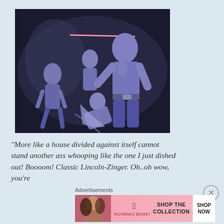[Figure (illustration): Fantasy illustration of a muscular Abraham Lincoln-like figure in blue/purple tones fighting multiple opponents, rendered in a comic book style. A glowing lightsaber-like weapon is visible in the background.]
"More like a house divided against itself cannot stand another ass whooping like the one I just dished out!  Boooom!  Classic Lincoln-Zinger.  Oh..oh wow, you're
Advertisements
[Figure (other): Victoria's Secret advertisement banner with a model, VS logo, 'SHOP THE COLLECTION' text, and a 'SHOP NOW' button on white background.]